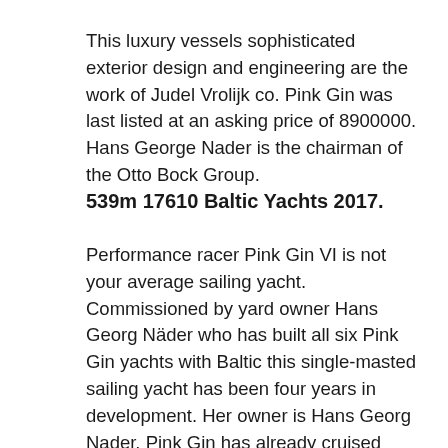This luxury vessels sophisticated exterior design and engineering are the work of Judel Vrolijk co. Pink Gin was last listed at an asking price of 8900000. Hans George Nader is the chairman of the Otto Bock Group.
539m 17610 Baltic Yachts 2017.
Performance racer Pink Gin VI is not your average sailing yacht. Commissioned by yard owner Hans Georg Näder who has built all six Pink Gin yachts with Baltic this single-masted sailing yacht has been four years in development. Her owner is Hans Georg Nader. Pink Gin has already cruised more than 25000 nautical miles in the 10 months since her launch reflecting the success of a highly complex design and build project I.